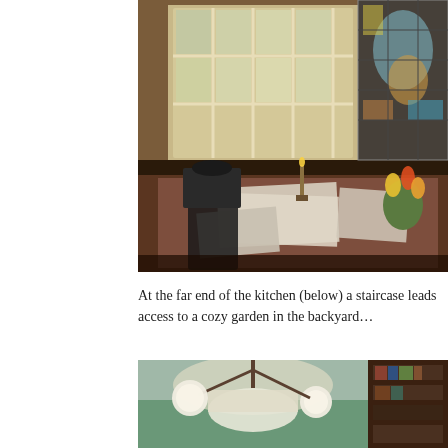[Figure (photo): Interior dining area with a table covered in papers and books, a candle holder, yellow tulips in a green vase, a dark wooden chair, a multi-pane window letting in light, and a decorative stained glass panel in the upper right corner.]
At the far end of the kitchen (below) a staircase leads access to a cozy garden in the backyard…
[Figure (photo): Interior room shot looking upward at a ceiling with a chandelier-style light fixture with globe bulbs, warm teal/green walls, and a bookshelf visible on the right edge.]